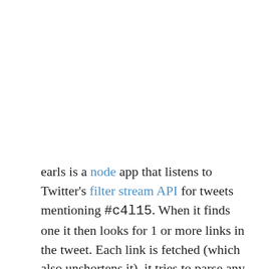earls is a node app that listens to Twitter's filter stream API for tweets mentioning #c4l15. When it finds one it then looks for 1 or more links in the tweet. Each link is fetched (which also unshortens it), it tries to parse any HTML (thanks cheerio) to find a page title, and then stashes these details as well as the tweet in redis.